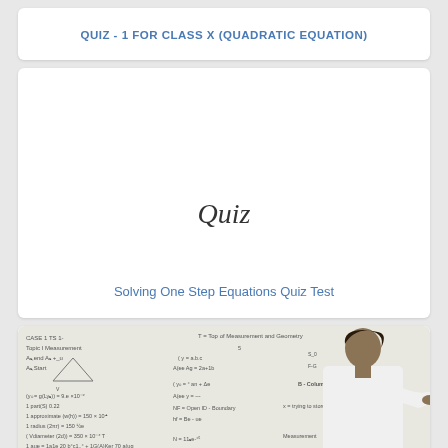QUIZ - 1 FOR CLASS X (QUADRATIC EQUATION)
[Figure (illustration): White card with the word 'Quiz' in italic script font centered, above a blue link title 'Solving One Step Equations Quiz Test']
Solving One Step Equations Quiz Test
[Figure (photo): Photo of a person in a white coat writing on a whiteboard covered in mathematical equations and formulas]